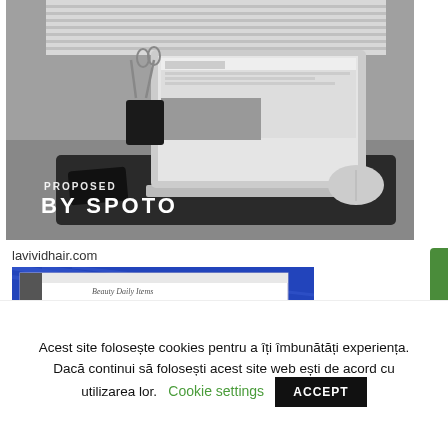[Figure (photo): Black and white photo of a laptop on a desk with a phone, scissors in a cup, and a mouse. Overlay text reads 'PROPOSED BY SPOTO'.]
lavividhair.com
[Figure (screenshot): Partial screenshot of lavividhair.com website with blue background and white inner content area.]
Acest site folosește cookies pentru a îți îmbunătăți experiența. Dacă continui să folosești acest site web ești de acord cu utilizarea lor. Cookie settings ACCEPT